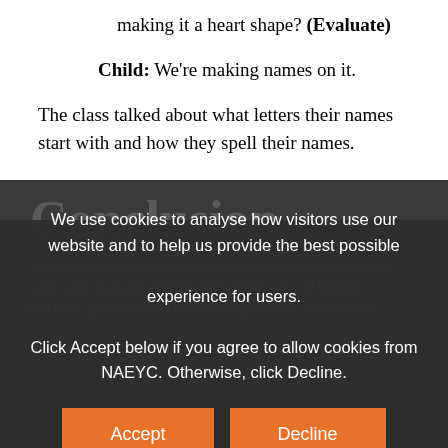making it a heart shape? (Evaluate)
Child: We're making names on it.
The class talked about what letters their names start with and how they spell their names.
Conclusion
Asking meaningful questions that are interesting to each child takes a lot of practice! In the next article, we will listen to teachers' questions and children's responses in Atlanta, Geo…
We use cookies to analyse how visitors use our website and to help us provide the best possible experience for users. Click Accept below if you agree to allow cookies from NAEYC. Otherwise, click Decline.